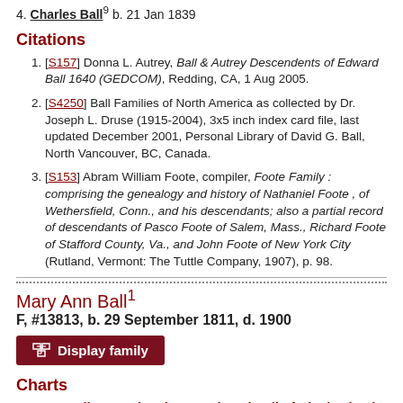4. Charles Ball b. 21 Jan 1839
Citations
[S157] Donna L. Autrey, Ball & Autrey Descendents of Edward Ball 1640 (GEDCOM), Redding, CA, 1 Aug 2005.
[S4250] Ball Families of North America as collected by Dr. Joseph L. Druse (1915-2004), 3x5 inch index card file, last updated December 2001, Personal Library of David G. Ball, North Vancouver, BC, Canada.
[S153] Abram William Foote, compiler, Foote Family : comprising the genealogy and history of Nathaniel Foote , of Wethersfield, Conn., and his descendants; also a partial record of descendants of Pasco Foote of Salem, Mass., Richard Foote of Stafford County, Va., and John Foote of New York City (Rutland, Vermont: The Tuttle Company, 1907), p. 98.
Mary Ann Ball
F, #13813, b. 29 September 1811, d. 1900
Display family
Charts
Pedigree to immigrant Edward Ball of Block Island RI
Mary Ann Ball was born on 29 September 1811 at